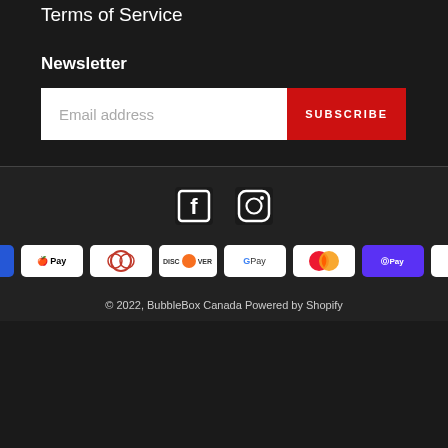Terms of Service
Newsletter
Email address
SUBSCRIBE
[Figure (illustration): Social media icons: Facebook and Instagram]
[Figure (illustration): Payment method badges: American Express, Apple Pay, Diners Club, Discover, Google Pay, Mastercard, Shop Pay, Visa]
© 2022, BubbleBox Canada Powered by Shopify